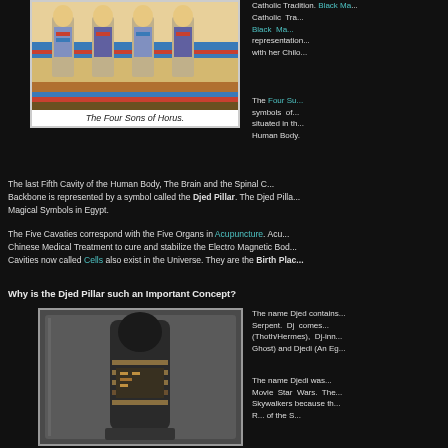[Figure (photo): The Four Sons of Horus - ancient Egyptian wall painting showing four mummiform figures with colorful decorations]
The Four Sons of Horus.
Catholic Tradition. Black Ma... representation... with her Chil...
The Four Su... symbols of... situated in th... Human Body.
The last Fifth Cavity of the Human Body, The Brain and the Spinal C... Backbone is represented by a symbol called the Djed Pillar. The Djed Pilla... Magical Symbols in Egypt.
The Five Cavaties correspond with the Five Organs in Acupuncture. Acu... Chinese Medical Treatment to cure and stabilize the Electro Magnetic Bod... Cavities now called Cells also exist in the Universe. They are the Birth Plac...
Why is the Djed Pillar such an Important Concept?
[Figure (photo): An Egyptian artifact - a mummiform sarcophagus or canopic container displayed in a glass case, dark colored with hieroglyphic decorations]
The name Djed contains... Serpent. Dj comes... (Thoth/Hermes), Dj-inn... Ghost) and Djedi (An Eg...
The name Djedi was... Movie Star Wars. The... Skywalkers because th... R... of the S...